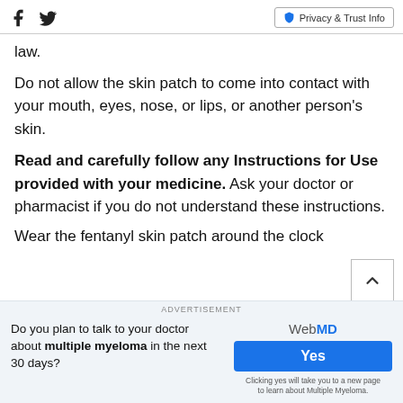Facebook Twitter | Privacy & Trust Info
law.
Do not allow the skin patch to come into contact with your mouth, eyes, nose, or lips, or another person's skin.
Read and carefully follow any Instructions for Use provided with your medicine. Ask your doctor or pharmacist if you do not understand these instructions.
Wear the fentanyl skin patch around the clock
ADVERTISEMENT
Do you plan to talk to your doctor about multiple myeloma in the next 30 days?
WebMD Yes
Clicking yes will take you to a new page to learn about Multiple Myeloma.